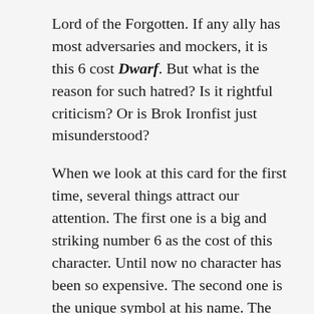Lord of the Forgotten. If any ally has most adversaries and mockers, it is this 6 cost Dwarf. But what is the reason for such hatred? Is it rightful criticism? Or is Brok Ironfist just misunderstood?
When we look at this card for the first time, several things attract our attention. The first one is a big and striking number 6 as the cost of this character. Until now no character has been so expensive. The second one is the unique symbol at his name. The third one is relatively high stats. Combining all of these characteristics new players could say “cool, I have got a strong ally at my side!” But after the first glance, we have awoken from our delight. 6 is a really high cost for any card, so it should be a